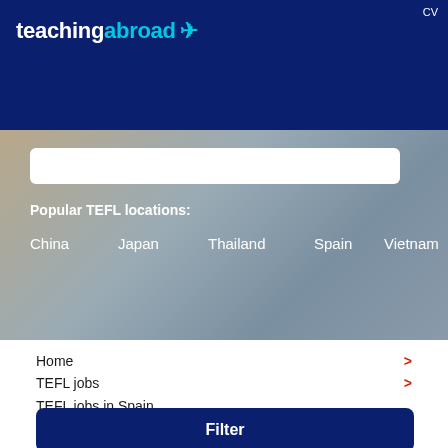teachingabroad
CV
Popular TEFL locations:
China
Japan
Thailand
Spain
Vietnam
Home
TEFL jobs
TEFL jobs in Spain
Filter